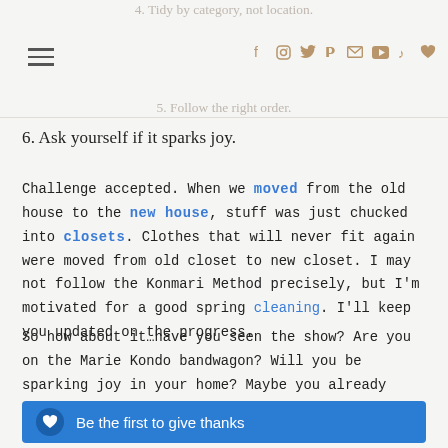4. Tidy by category, not location. 5. Follow the right order.
6. Ask yourself if it sparks joy.
Challenge accepted. When we moved from the old house to the new house, stuff was just chucked into closets. Clothes that will never fit again were moved from old closet to new closet. I may not follow the Konmari Method precisely, but I'm motivated for a good spring cleaning. I'll keep you updated on the progress.
So how about it…have you seen the show? Are you on the Marie Kondo bandwagon? Will you be sparking joy in your home? Maybe you already have. Inquiring minds want to know.
Be the first to give thanks